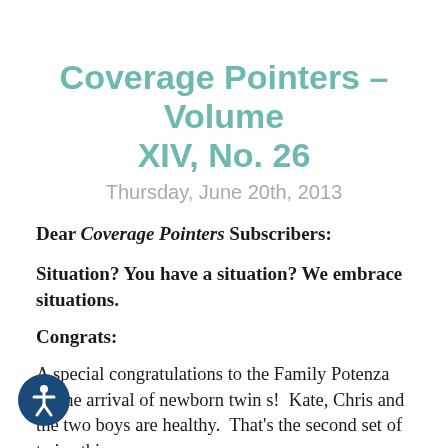Coverage Pointers - Volume XIV, No. 26
Thursday, June 20th, 2013
Dear Coverage Pointers Subscribers:
Situation?  You have a situation?  We embrace situations.
Congrats:
A special congratulations to the Family Potenza on the arrival of newborn twin s!  Kate, Chris and the two boys are healthy.  That's the second set of twins this